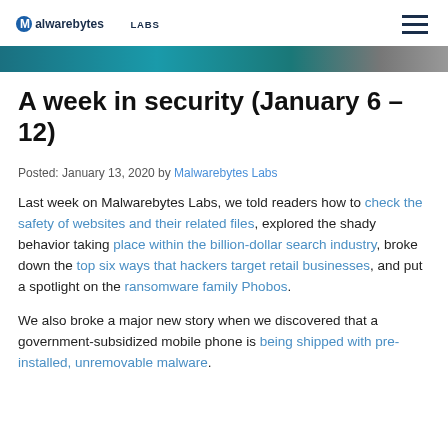Malwarebytes LABS
[Figure (illustration): Teal/blue gradient hero banner bar]
A week in security (January 6 – 12)
Posted: January 13, 2020 by Malwarebytes Labs
Last week on Malwarebytes Labs, we told readers how to check the safety of websites and their related files, explored the shady behavior taking place within the billion-dollar search industry, broke down the top six ways that hackers target retail businesses, and put a spotlight on the ransomware family Phobos.
We also broke a major new story when we discovered that a government-subsidized mobile phone is being shipped with pre-installed, unremovable malware.